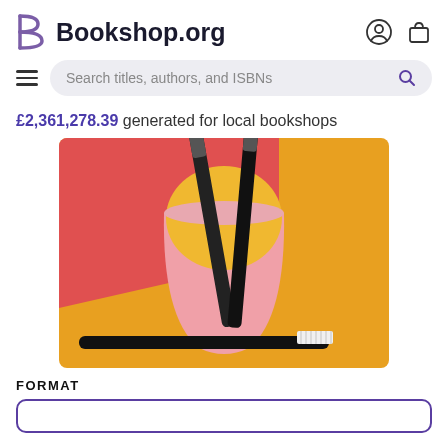Bookshop.org
Search titles, authors, and ISBNs
£2,361,278.39 generated for local bookshops
[Figure (illustration): Book cover illustration showing two toothbrushes in a pink cup against a red and orange background, with a black toothbrush at the bottom with white bristles]
FORMAT